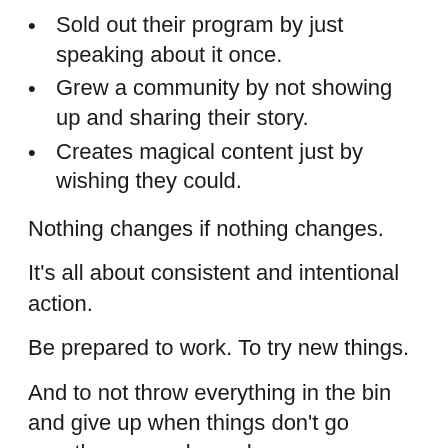Sold out their program by just speaking about it once.
Grew a community by not showing up and sharing their story.
Creates magical content just by wishing they could.
Nothing changes if nothing changes.
It’s all about consistent and intentional action.
Be prepared to work. To try new things.
And to not throw everything in the bin and give up when things don’t go exactly as you planned.
Stop waiting, start making magic.